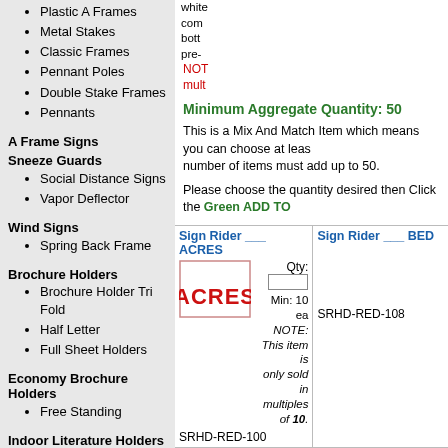Plastic A Frames
Metal Stakes
Classic Frames
Pennant Poles
Double Stake Frames
Pennants
A Frame Signs
Sneeze Guards
Social Distance Signs
Vapor Deflector
Wind Signs
Spring Back Frame
Brochure Holders
Brochure Holder Tri Fold
Half Letter
Full Sheet Holders
Economy Brochure Holders
Free Standing
Indoor Literature Holders
House Literature Holder
Take One Leave One
Copy Conserver
Copy Conserver with Franchise Logo
Business Card Holder
Minimum Aggregate Quantity: 50
This is a Mix And Match Item which means you can choose at least 2 different items and the total number of items must add up to 50.
Please choose the quantity desired then Click the Green ADD TO
Sign Rider ___ ACRES
Qty: Min: 10 ea NOTE: This item is only sold in multiples of 10.
SRHD-RED-100
Sign Rider ___ BED
SRHD-RED-108
Sign Rider 1 YEAR WARRANTY
Qty: Min: 10 ea NOTE: This item is only sold in multiples of 10.
SRHD-RED-141
Sign Rider 2 BEDR
SRHD-RED-109
Sign Rider 4 BEDROOM
Sign Rider 5 BEDR